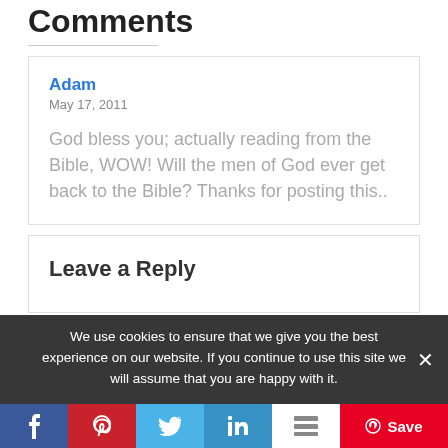Comments
Adam
May 17, 2011

God bless you; actually reading from the Bible, WOW! Will the men of God ever get back to the Bible? Thanks for posting this..
Leave a Reply
We use cookies to ensure that we give you the best experience on our website. If you continue to use this site we will assume that you are happy with it.